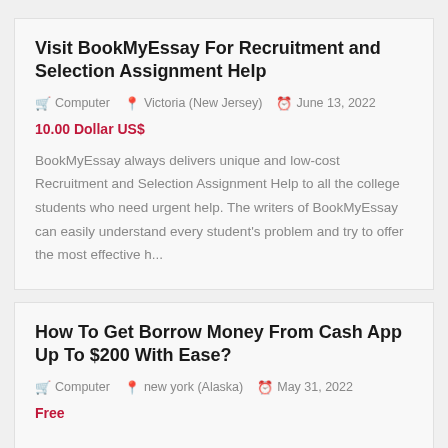Visit BookMyEssay For Recruitment and Selection Assignment Help
Computer  Victoria (New Jersey)  June 13, 2022
10.00 Dollar US$
BookMyEssay always delivers unique and low-cost Recruitment and Selection Assignment Help to all the college students who need urgent help. The writers of BookMyEssay can easily understand every student's problem and try to offer the most effective h...
How To Get Borrow Money From Cash App Up To $200 With Ease?
Computer  new york (Alaska)  May 31, 2022
Free